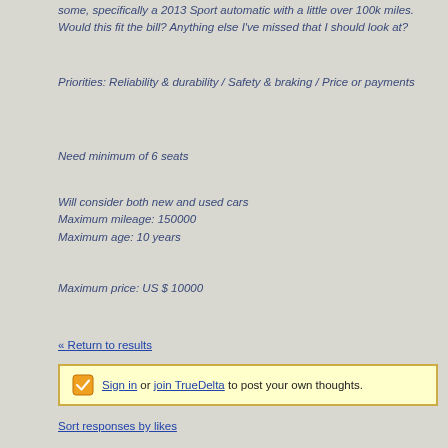some, specifically a 2013 Sport automatic with a little over 100k miles. Would this fit the bill? Anything else I've missed that I should look at?
Priorities: Reliability & durability / Safety & braking / Price or payments
Need minimum of 6 seats
Will consider both new and used cars
Maximum mileage: 150000
Maximum age: 10 years
Maximum price: US $ 10000
« Return to results
Sign in or join TrueDelta to post your own thoughts.
Sort responses by likes